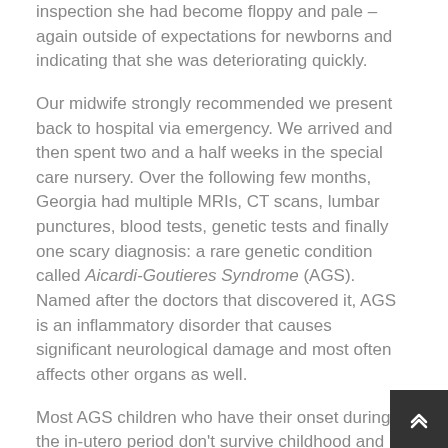inspection she had become floppy and pale – again outside of expectations for newborns and indicating that she was deteriorating quickly.
Our midwife strongly recommended we present back to hospital via emergency. We arrived and then spent two and a half weeks in the special care nursery. Over the following few months, Georgia had multiple MRIs, CT scans, lumbar punctures, blood tests, genetic tests and finally one scary diagnosis: a rare genetic condition called Aicardi-Goutieres Syndrome (AGS). Named after the doctors that discovered it, AGS is an inflammatory disorder that causes significant neurological damage and most often affects other organs as well.
Most AGS children who have their onset during the in-utero period don't survive childhood and spend their lives profoundly disabled. It was hard news to have to break to family. Even Georgia's neurospecialist couldn't break it to us – the disease being so rare (only around 400 cases in the world) he was only just beginning to get his head around it. We relied heavily on